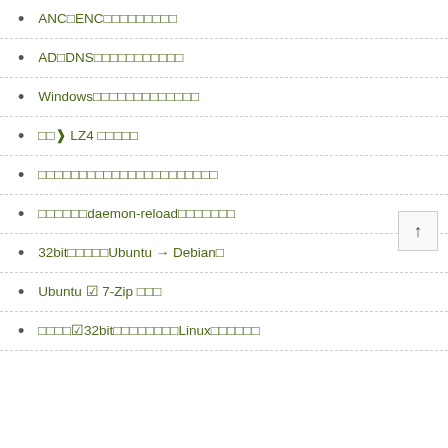ANC□ENC□□□□□□□□□
AD□DNS□□□□□□□□□□□
Windows□□□□□□□□□□□□□
□□❱ LZ4 □□□□□
□□□□□□□□□□□□□□□□□□□□□□
□□□□□□daemon-reload□□□□□□□
32bit□□□□□Ubuntu → Debian□
Ubuntu ☑ 7-Zip □□□
□□□□☑ 32bit□□□□□□□□Linux□□□□□□